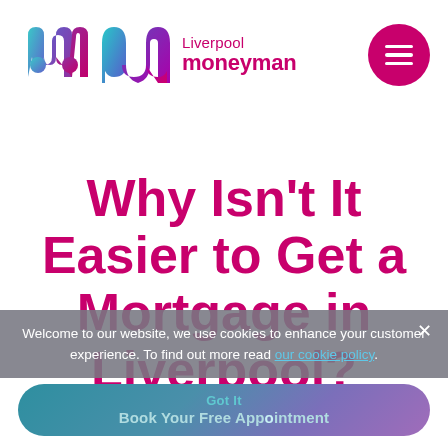[Figure (logo): Liverpool Moneyman logo — stylized M in gradient teal-to-purple, with brand name 'Liverpool moneyman' in magenta text beside it, and a magenta circular hamburger menu button on the right]
Why Isn't It Easier to Get a Mortgage in Liverpool?
Welcome to our website, we use cookies to enhance your customer experience. To find out more read our cookie policy.
Got It Book Your Free Appointment